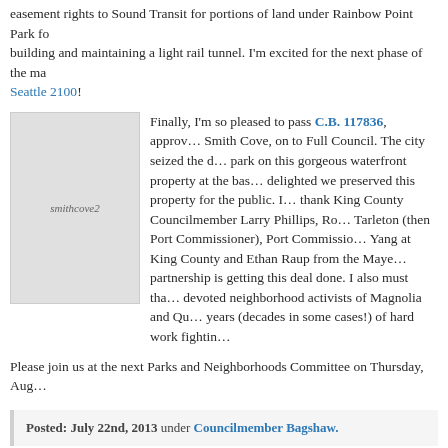easement rights to Sound Transit for portions of land under Rainbow Point Park for building and maintaining a light rail tunnel. I'm excited for the next phase of the ma… Seattle 2100!
[Figure (photo): Photo of Smith Cove waterfront area labeled smithcove2]
Finally, I'm so pleased to pass C.B. 117836, approv… Smith Cove, on to Full Council. The city seized the d… park on this gorgeous waterfront property at the bas… delighted we preserved this property for the public. I… thank King County Councilmember Larry Phillips, Ro… Tarleton (then Port Commissioner), Port Commissio… Yang at King County and Ethan Raup from the Maye… partnership is getting this deal done. I also must tha… devoted neighborhood activists of Magnolia and Qu… years (decades in some cases!) of hard work fightin…
Please join us at the next Parks and Neighborhoods Committee on Thursday, Aug…
Posted: July 22nd, 2013 under Councilmember Bagshaw.
« Previous post  |  Council Connection Home Page  |  Next »